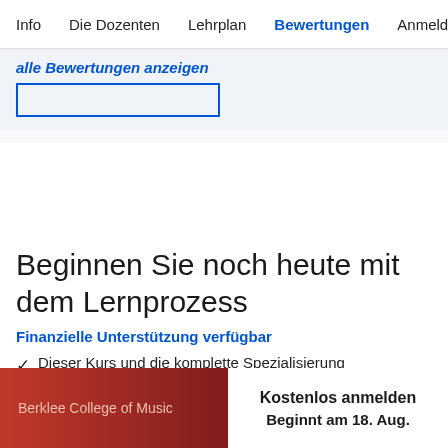Info   Die Dozenten   Lehrplan   Bewertungen   Anmelde
alle Bewertungen anzeigen
Beginnen Sie noch heute mit dem Lernprozess
Finanzielle Unterstützung verfügbar
Dieser Kurs und die komplette Spezialisierung
Berklee College of Music   Kostenlos anmelden   Beginnt am 18. Aug.